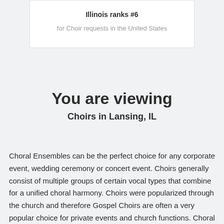Illinois ranks #6
for Choir requests in the United States
You are viewing
Choirs in Lansing, IL
Choral Ensembles can be the perfect choice for any corporate event, wedding ceremony or concert event. Choirs generally consist of multiple groups of certain vocal types that combine for a unified choral harmony. Choirs were popularized through the church and therefore Gospel Choirs are often a very popular choice for private events and church functions. Choral ensembles can perform with or without music. Those that perform without are